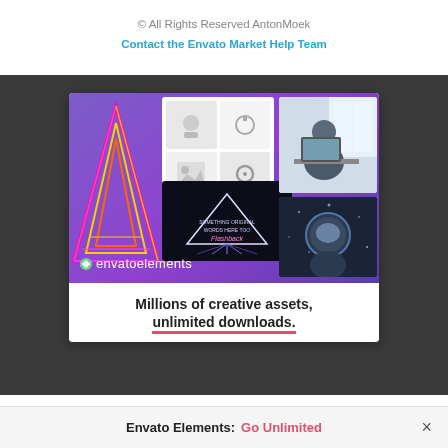© All Rights Reserved AntonMoek
Contact the Envato Market Help Team
[Figure (illustration): Envato Elements promotional banner with colorful creative assets collage — neon triangle artwork, design mockups on white cards, dark neon text card, person working at computer, astronaut photo — with 'envato elements' logo at bottom left on a purple/violet gradient background. Below the image area is white with bold text 'Millions of creative assets, unlimited downloads.']
Millions of creative assets,
unlimited downloads.
Envato Elements:  Go Unlimited  ×